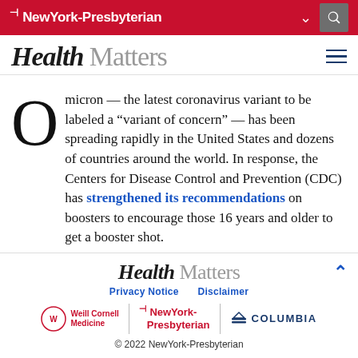NewYork-Presbyterian
Health Matters
Omicron — the latest coronavirus variant to be labeled a “variant of concern” — has been spreading rapidly in the United States and dozens of countries around the world. In response, the Centers for Disease Control and Prevention (CDC) has strengthened its recommendations on boosters to encourage those 16 years and older to get a booster shot.
Health Matters
Privacy Notice    Disclaimer
Weill Cornell Medicine | NewYork-Presbyterian | Columbia
© 2022 NewYork-Presbyterian